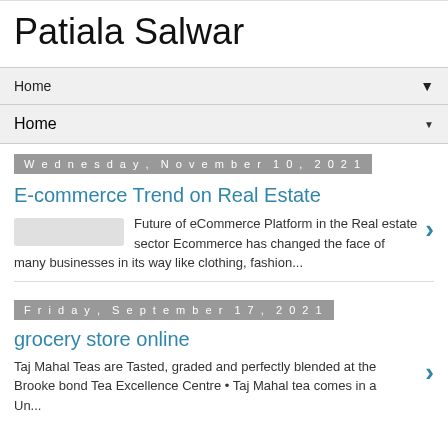Patiala Salwar
Home ▼
Home ▼
Wednesday, November 10, 2021
E-commerce Trend on Real Estate
Future of eCommerce Platform in the Real estate sector Ecommerce has changed the face of many businesses in its way like clothing, fashion...
Friday, September 17, 2021
grocery store online
Taj Mahal Teas are Tasted, graded and perfectly blended at the Brooke bond Tea Excellence Centre • Taj Mahal tea comes in a Un...